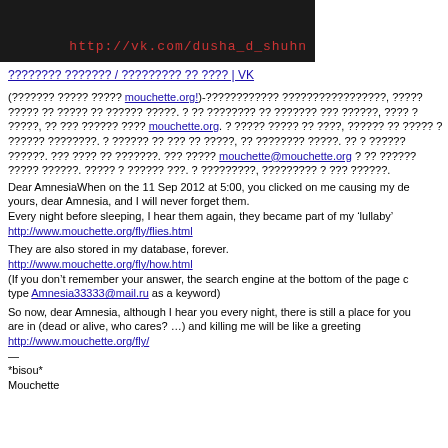[Figure (photo): Dark banner image with red cursive/script text reading 'http://vk.com/dusha_d_shuhn' or similar URL on a dark smoky background]
???????? ??????? / ????????? ?? ???? | VK
(??????? ????? ????? mouchette.org!)-???????????? ?????????????????, ?????? ????? ?? ????? ?? ?????? ?????. ? ?? ???????? ?? ??????? ??? ??????, ???? ? ?????, ?? ??? ?????? ???? mouchette.org . ? ????? ????? ?? ????, ?????? ?? ????? ? ?????? ????????. ? ?????? ?? ??? ?? ?????, ?? ???????? ?????. ?? ? ?????? ??????. ??? ???? ?? ???????. ??? ????? mouchette@mouchette.org ? ?? ?????? ????? ??????. ????? ? ?????? ???. ? ?????????, ????????? ? ??? ??????.
Dear AmnesiaWhen on the 11 Sep 2012 at 5:00, you clicked on me causing my de yours, dear Amnesia, and I will never forget them.
Every night before sleeping, I hear them again, they became part of my ‘lullaby’
http://www.mouchette.org/fly/flies.html

They are also stored in my database, forever.
http://www.mouchette.org/fly/how.html
(If you don’t remember your answer, the search engine at the bottom of the page c type Amnesia33333@mail.ru as a keyword)

So now, dear Amnesia, although I hear you every night, there is still a place for you are in (dead or alive, who cares? …) and killing me will be like a greeting
http://www.mouchette.org/fly/
—
*bisou*
Mouchette